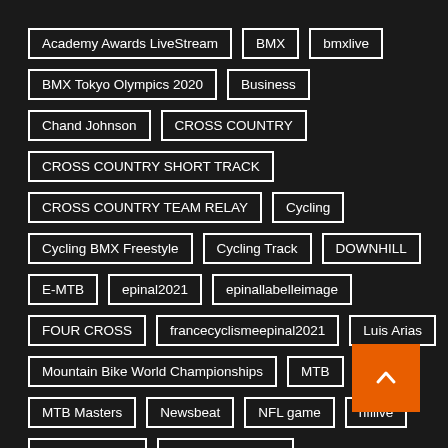Academy Awards LiveStream
BMX
bmxlive
BMX Tokyo Olympics 2020
Business
Chand Johnson
CROSS COUNTRY
CROSS COUNTRY SHORT TRACK
CROSS COUNTRY TEAM RELAY
Cycling
Cycling BMX Freestyle
Cycling Track
DOWNHILL
E-MTB
epinal2021
epinallabelleimage
FOUR CROSS
francecyclismeepinal2021
Luis Arias
Mountain Bike World Championships
MTB
MTB Masters
Newsbeat
NFL game
nfllive
NFLSuperBowl
Olympic Schedule
Olympic Schedule & Results
Oscarslive
Oscars nominations
Pascal vs. Jack